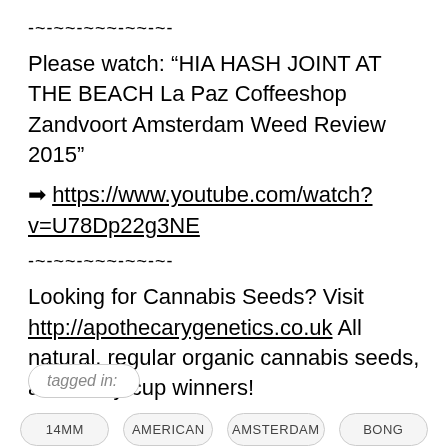-~-~~-~~~-~~-~-
Please watch: “HIA HASH JOINT AT THE BEACH La Paz Coffeeshop Zandvoort Amsterdam Weed Review 2015”
➡ https://www.youtube.com/watch?v=U78Dp22g3NE
-~-~~-~~~-~~-~-
Looking for Cannabis Seeds? Visit http://apothecarygenetics.co.uk All natural, regular organic cannabis seeds, and many cup winners!
tagged in:
14MM  AMERICAN  AMSTERDAM  BONG